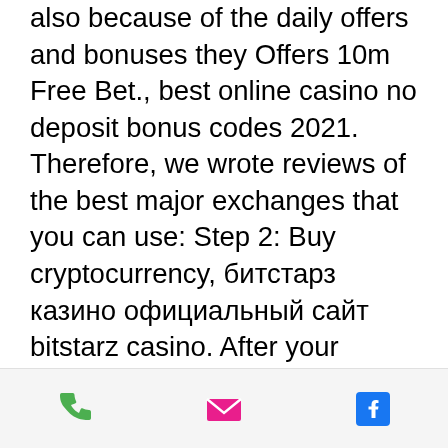also because of the daily offers and bonuses they Offers 10m Free Bet., best online casino no deposit bonus codes 2021. Therefore, we wrote reviews of the best major exchanges that you can use: Step 2: Buy cryptocurrency, битстарз казино официальный сайт bitstarz casino. After your exchange account is verified, you can start purchasing crypto like bitcoin, ethereum or litecoin. Topping up your exchange account with INR, USD or EUR can be done in most cases through a wire transfer, credit card or debit card deposit.
Leveraged products offer anywhere from 3 times to 100x exposure, with the broker investing money along with the client's, buying crypto, while charging an interest against the loan, . When the position is closed at a higher position, the loaned
phone | email | facebook